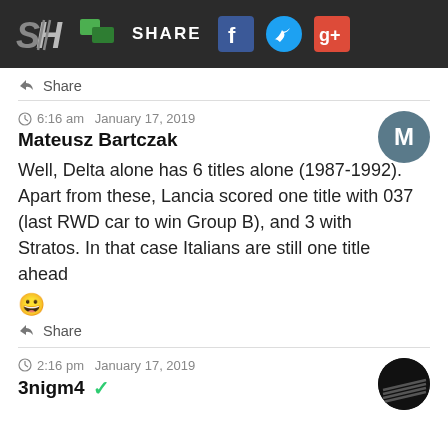SH SHARE [Facebook] [Twitter] [Google+]
Share
6:16 am  January 17, 2019
Mateusz Bartczak
Well, Delta alone has 6 titles alone (1987-1992). Apart from these, Lancia scored one title with 037 (last RWD car to win Group B), and 3 with Stratos. In that case Italians are still one title ahead 😀
Share
2:16 pm  January 17, 2019
3nigm4 ✓